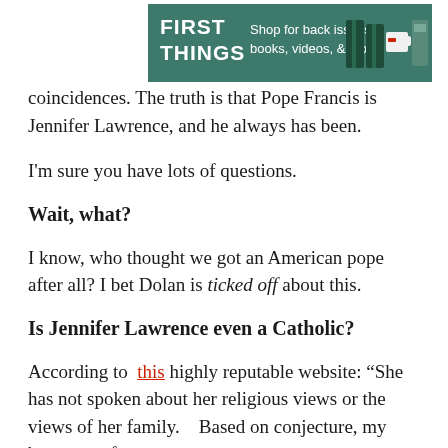[Figure (other): First Things advertisement banner: teal/green background with white text 'FIRST THINGS', tagline 'Shop for back issues, books, videos, & more.' and product images of binders, a mug, and a book.]
coincidences. The truth is that Pope Francis is Jennifer Lawrence, and he always has been.
I'm sure you have lots of questions.
Wait, what?
I know, who thought we got an American pope after all? I bet Dolan is ticked off about this.
Is Jennifer Lawrence even a Catholic?
According to this highly reputable website: “She has not spoken about her religious views or the views of her family. Based on conjecture, my best guess for